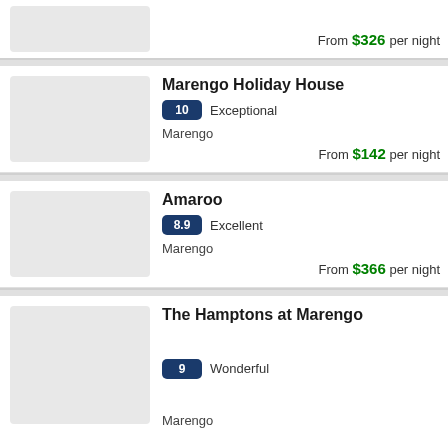From $326 per night
Marengo Holiday House
10 Exceptional
Marengo
From $142 per night
Amaroo
8.9 Excellent
Marengo
From $366 per night
The Hamptons at Marengo
9 Wonderful
Marengo